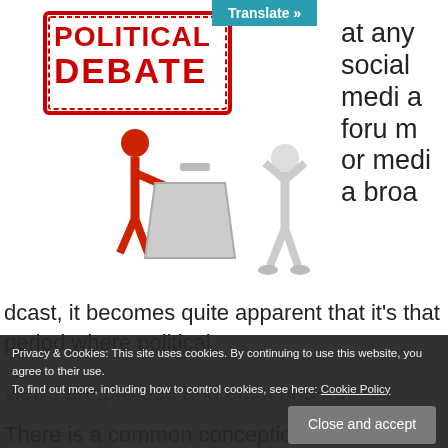[Figure (screenshot): Blue Translate button overlay at top]
[Figure (illustration): POLITICAL DEBATE stamp logo in red and white, with two cartoon figures debating at a podium]
at any social media forum or media broadcast, it becomes quite apparent that it's that period where political views are profuse and emotions run
Privacy & Cookies: This site uses cookies. By continuing to use this website, you agree to their use. To find out more, including how to control cookies, see here: Cookie Policy
Close and accept
There is a common conception that